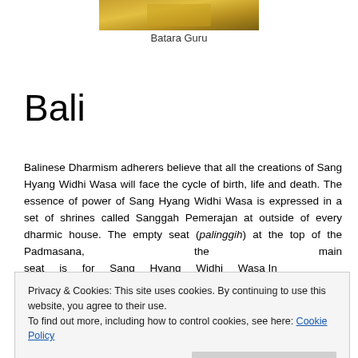[Figure (photo): Cropped photo of Batara Guru figure in yellow/gold costume]
Batara Guru
Bali
Balinese Dharmism adherers believe that all the creations of Sang Hyang Widhi Wasa will face the cycle of birth, life and death. The essence of power of Sang Hyang Widhi Wasa is expressed in a set of shrines called Sanggah Pemerajan at outside of every dharmic house. The empty seat (palinggih) at the top of the Padmasana, the main seat is for Sang Hyang Widhi Wasa In
Privacy & Cookies: This site uses cookies. By continuing to use this website, you agree to their use.
To find out more, including how to control cookies, see here: Cookie Policy
are various manifestations. Three well known